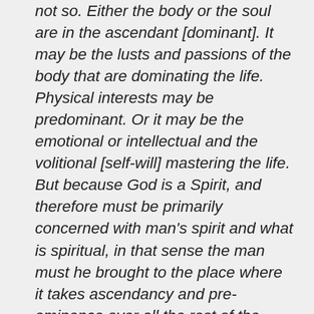not so. Either the body or the soul are in the ascendant [dominant]. It may be the lusts and passions of the body that are dominating the life. Physical interests may be predominant. Or it may be the emotional or intellectual and the volitional [self-will] mastering the life. But because God is a Spirit, and therefore must be primarily concerned with man's spirit and what is spiritual, in that sense the man must he brought to the place where it takes ascendancy and pre-eminence over all the rest of the man. Because that is so, the Father has to discipline in order to get the spirit into ascendancy and dominion, and it entirely depends upon the temperament